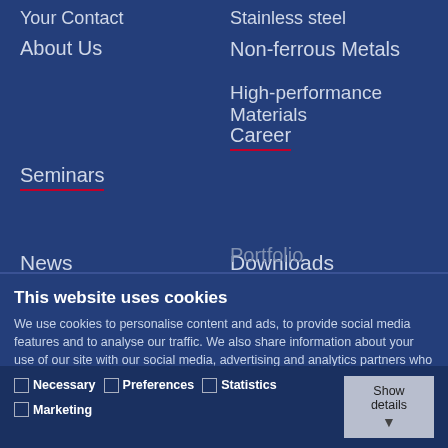Your Contact
Stainless steel
About Us
Non-ferrous Metals
High-performance Materials
Seminars
Career
News
Downloads
Portfolio
This website uses cookies
We use cookies to personalise content and ads, to provide social media features and to analyse our traffic. We also share information about your use of our site with our social media, advertising and analytics partners who may combine it with other information that you've provided to them or that they've collected from your use of their services.
Allow all cookies
Allow selection
Use necessary cookies only
Necessary  Preferences  Statistics  Marketing  Show details